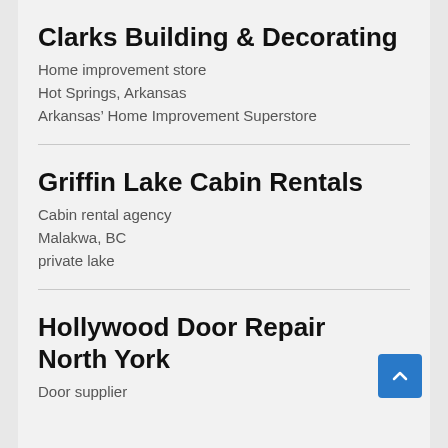Clarks Building & Decorating
Home improvement store
Hot Springs, Arkansas
Arkansas' Home Improvement Superstore
Griffin Lake Cabin Rentals
Cabin rental agency
Malakwa, BC
private lake
Hollywood Door Repair North York
Door supplier